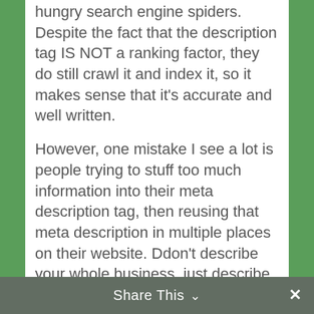hungry search engine spiders. Despite the fact that the description tag IS NOT a ranking factor, they do still crawl it and index it, so it makes sense that it's accurate and well written.
However, one mistake I see a lot is people trying to stuff too much information into their meta description tag, then reusing that meta description in multiple places on their website. Ddon't describe your whole business, just describe the page in question.
For example,  let's say you're a contractor, and you provide plumbing, remodeling, and electrical work. You would want to have a
Share This ∨  ×